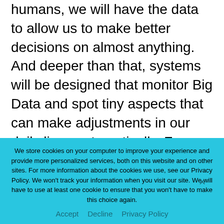humans, we will have the data to allow us to make better decisions on almost anything. And deeper than that, systems will be designed that monitor Big Data and spot tiny aspects that can make adjustments in our daily lives automatically. For example:
Health monitors that pick up subtleties in medical conditions, that can be early warnings to trigger the right treatments immediately.
We store cookies on your computer to improve your experience and provide more personalized services, both on this website and on other sites. For more information about the cookies we use, see our Privacy Policy. We won't track your information when you visit our site. We will have to use at least one cookie to ensure that you won't have to make this choice again.